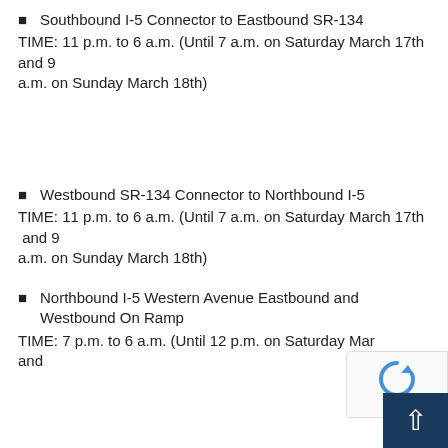Southbound I-5 Connector to Eastbound SR-134
TIME: 11 p.m. to 6 a.m. (Until 7 a.m. on Saturday March 17th and 9 a.m. on Sunday March 18th)
Westbound SR-134 Connector to Northbound I-5
TIME: 11 p.m. to 6 a.m. (Until 7 a.m. on Saturday March 17th and 9 a.m. on Sunday March 18th)
Northbound I-5 Western Avenue Eastbound and Westbound On Ramp
TIME: 7 p.m. to 6 a.m. (Until 12 p.m. on Saturday Mar... and